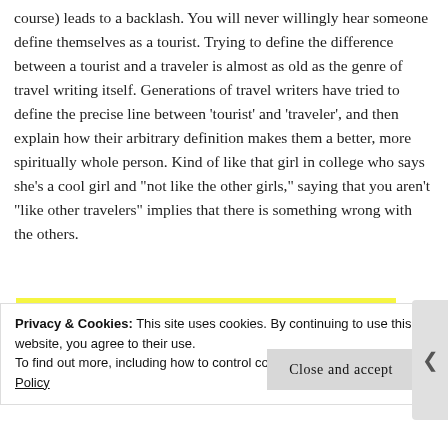course) leads to a backlash. You will never willingly hear someone define themselves as a tourist. Trying to define the difference between a tourist and a traveler is almost as old as the genre of travel writing itself. Generations of travel writers have tried to define the precise line between ‘tourist’ and ‘traveler’, and then explain how their arbitrary definition makes them a better, more spiritually whole person. Kind of like that girl in college who says she’s a cool girl and “not like the other girls,” saying that you aren’t “like other travelers” implies that there is something wrong with the others.
[Figure (other): Yellow banner with WordPress 'Powered by' logo and WordPress circle icon]
Privacy & Cookies: This site uses cookies. By continuing to use this website, you agree to their use.
To find out more, including how to control cookies, see here: Cookie Policy
Close and accept